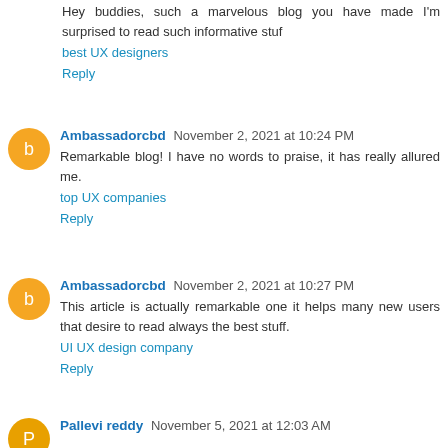Hey buddies, such a marvelous blog you have made I'm surprised to read such informative stuf
best UX designers
Reply
Ambassadorcbd November 2, 2021 at 10:24 PM
Remarkable blog! I have no words to praise, it has really allured me.
top UX companies
Reply
Ambassadorcbd November 2, 2021 at 10:27 PM
This article is actually remarkable one it helps many new users that desire to read always the best stuff.
UI UX design company
Reply
Pallevi reddy November 5, 2021 at 12:03 AM